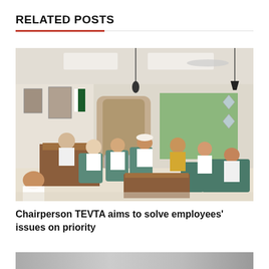RELATED POSTS
[Figure (photo): A meeting room scene showing a chairperson seated at a desk and several attendees seated in chairs and sofas around a coffee table in an office setting with photos on the wall and windows showing greenery outside.]
Chairperson TEVTA aims to solve employees’ issues on priority
[Figure (photo): Partial view of another related article image at the bottom, cropped.]